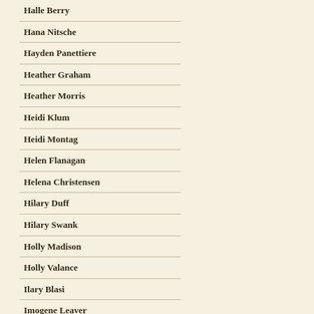Halle Berry
Hana Nitsche
Hayden Panettiere
Heather Graham
Heather Morris
Heidi Klum
Heidi Montag
Helen Flanagan
Helena Christensen
Hilary Duff
Hilary Swank
Holly Madison
Holly Valance
Ilary Blasi
Imogene Leaver